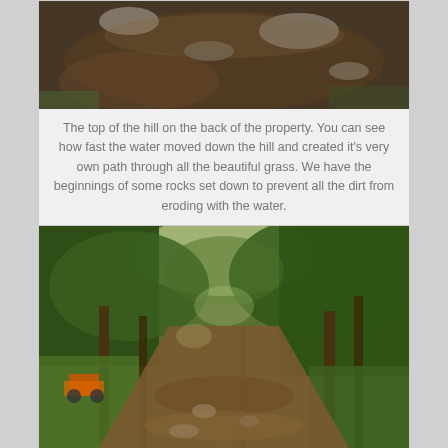[Figure (photo): Top of a hill on the back of a property showing dark soil and rocks, with some grass visible. Water erosion path visible.]
The top of the hill on the back of the property. You can see how fast the water moved down the hill and created it's very own path through all the beautiful grass. We have the beginnings of some rocks set down to prevent all the dirt from eroding with the water.
[Figure (photo): A wooded path or trail through trees with green grass on the sides, a dirt/mud path in the center, and an orange tractor visible in the background on the left side.]